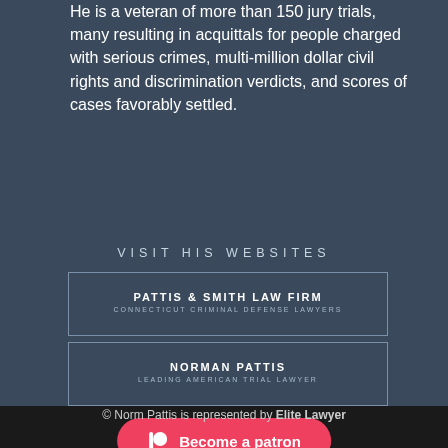He is a veteran of more than 150 jury trials, many resulting in acquittals for people charged with serious crimes, multi-million dollar civil rights and discrimination verdicts, and scores of cases favorably settled.
VISIT HIS WEBSITES
[Figure (logo): PATTIS & SMITH LAW FIRM / CONNECTICUT CRIMINAL DEFENSE LAWYERS - bordered box logo]
[Figure (logo): NORMAN PATTIS / LEADING AMERICAN TRIAL LAWYER - bordered box logo]
[Figure (other): Patreon button: Become a patron]
© Norm Pattis is represented by Elite Lawyer